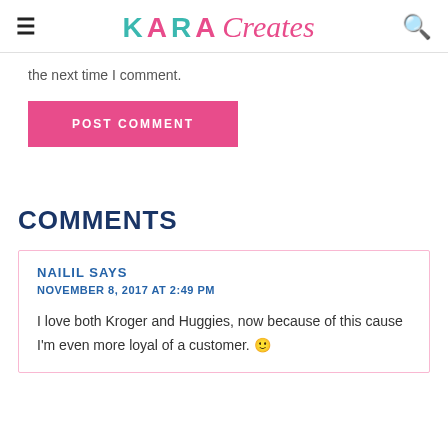KARA Creates
the next time I comment.
POST COMMENT
COMMENTS
NAILIL SAYS
NOVEMBER 8, 2017 AT 2:49 PM
I love both Kroger and Huggies, now because of this cause I'm even more loyal of a customer. 🙂